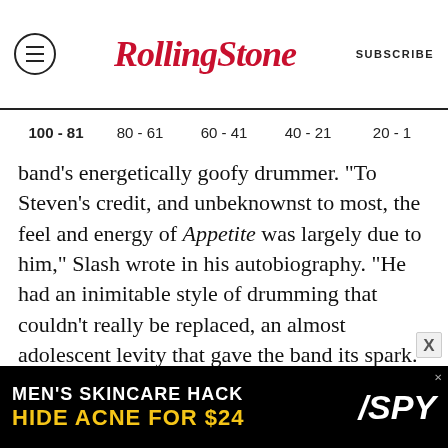Rolling Stone | SUBSCRIBE
100 - 81  80 - 61  60 - 41  40 - 21  20 - 1
band's energetically goofy drummer. "To Steven's credit, and unbeknownst to most, the feel and energy of Appetite was largely due to him," Slash wrote in his autobiography. "He had an inimitable style of drumming that couldn't really be replaced, an almost adolescent levity that gave the band its spark." Bassist Duff McKagan agreed: "Without his groove, we wouldn't have come up with a lot of those riffs," he told The Onion A.V. Club in 2011. Adler, who was fired from the band in 1990, was replaced by technically advanced drummers
[Figure (other): Advertisement banner: MEN'S SKINCARE HACK / HIDE ACNE FOR $24 with SPY logo]